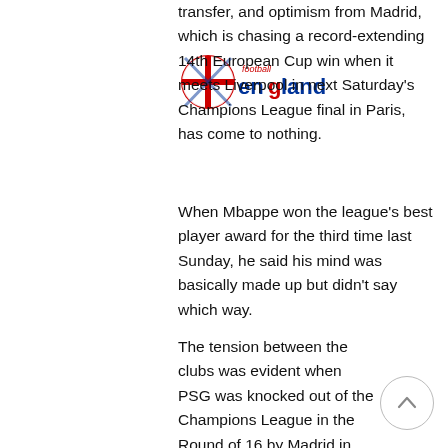[Figure (logo): Football England logo — a circular red/blue emblem with 'football' in red small text above and 'england' in bold blue/red text below]
transfer, and optimism from Madrid, which is chasing a record-extending 14th European Cup win when it meets Liverpool in next Saturday's Champions League final in Paris, has come to nothing.
When Mbappe won the league's best player award for the third time last Sunday, he said his mind was basically made up but didn't say which way.
The tension between the clubs was evident when PSG was knocked out of the Champions League in the Round of 16 by Madrid in March — despite leading 2-0 overall with two Mbappe goals — and Al-Khelaifi remains under UEFA investigation for allegedly confronting match officials after the loss.